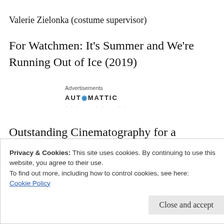Valerie Zielonka (costume supervisor)
For Watchmen: It's Summer and We're Running Out of Ice (2019)
Advertisements
AUTOMATTIC
Outstanding Cinematography for a Limited Series or Movie
Privacy & Cookies: This site uses cookies. By continuing to use this website, you agree to their use.
To find out more, including how to control cookies, see here:
Cookie Policy
Close and accept
(2019)